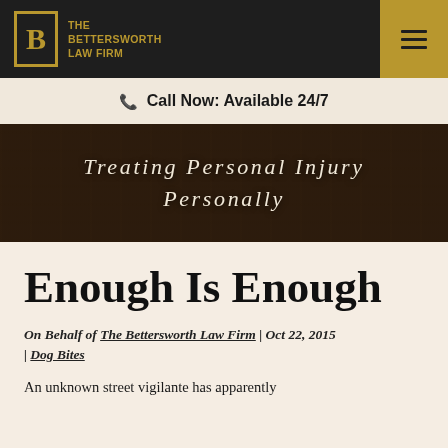[Figure (logo): The Bettersworth Law Firm logo — gold B in a box with firm name text, on dark background header with gold hamburger menu button]
Call Now: Available 24/7
[Figure (photo): Hero banner with dark wood texture background and italic white text: Treating Personal Injury Personally]
Enough Is Enough
On Behalf of The Bettersworth Law Firm | Oct 22, 2015 | Dog Bites
An unknown street vigilante has apparently